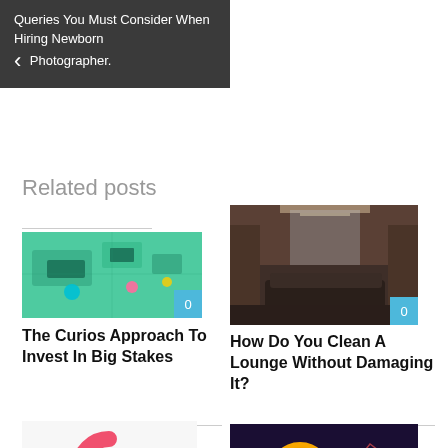Queries You Must Consider When Hiring Newborn Photographer.
Related posts
[Figure (screenshot): Colorful isometric circuit board / technology illustration with a blue badge showing 0]
The Curios Approach To Invest In Big Stakes
[Figure (photo): Dark modern lounge/living room interior photo with a blue badge showing 0]
How Do You Clean A Lounge Without Damaging It?
[Figure (logo): ConvertKit logo (pink circular arrow with text) and blue badge showing 0]
ConvertKit Review
[Figure (photo): Bitcoin coin on dark background with chart overlay and blue badge showing 0]
How to Sell Bitcoin for Cash Quickly